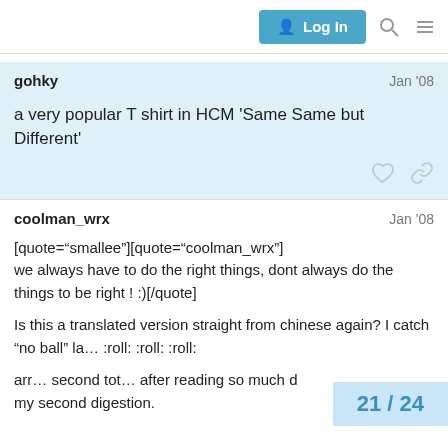Log In
gohky   Jan '08
a very popular T shirt in HCM 'Same Same but Different'
coolman_wrx   Jan '08
[quote="smallee"][quote="coolman_wrx"]
we always have to do the right things, dont always do the things to be right ! :)[/quote]

Is this a translated version straight from chinese again? I catch "no ball" la... :roll: :roll: :roll:

arr… second tot… after reading so much d
my second digestion.
21 / 24